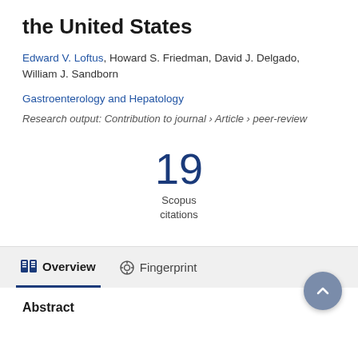the United States
Edward V. Loftus, Howard S. Friedman, David J. Delgado, William J. Sandborn
Gastroenterology and Hepatology
Research output: Contribution to journal › Article › peer-review
19
Scopus
citations
Overview
Fingerprint
Abstract